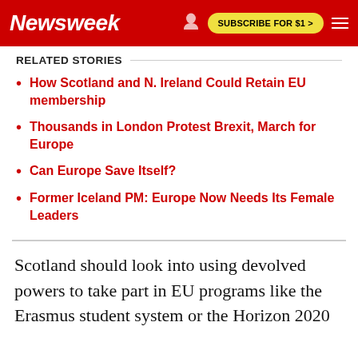Newsweek — SUBSCRIBE FOR $1 >
RELATED STORIES
How Scotland and N. Ireland Could Retain EU membership
Thousands in London Protest Brexit, March for Europe
Can Europe Save Itself?
Former Iceland PM: Europe Now Needs Its Female Leaders
Scotland should look into using devolved powers to take part in EU programs like the Erasmus student system or the Horizon 2020